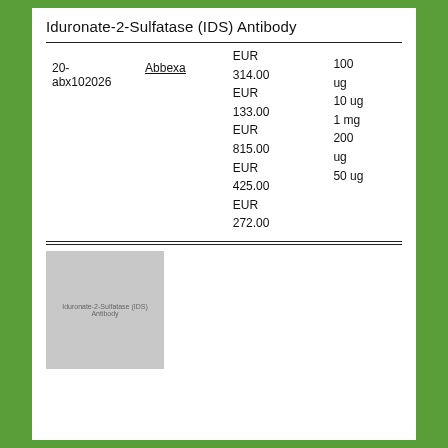Iduronate-2-Sulfatase (IDS) Antibody
| ID | Supplier | Price | Size |
| --- | --- | --- | --- |
| 20-abx102026 | Abbexa | EUR 314.00
EUR 133.00
EUR 815.00
EUR 425.00
EUR 272.00 | 100 ug
10 ug
1 mg
200 ug
50 ug |
[Figure (photo): Iduronate-2-Sulfatase (IDS) Antibody product image placeholder, grey rectangle with text label]